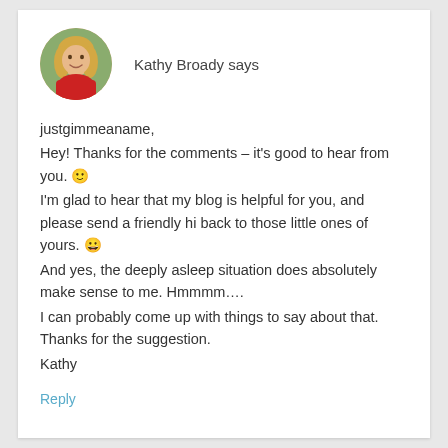[Figure (photo): Circular avatar photo of a blonde woman in a red top]
Kathy Broady says
justgimmeaname,
Hey! Thanks for the comments – it's good to hear from you. 🙂
I'm glad to hear that my blog is helpful for you, and please send a friendly hi back to those little ones of yours. 😀
And yes, the deeply asleep situation does absolutely make sense to me. Hmmmm….
I can probably come up with things to say about that. Thanks for the suggestion.
Kathy
Reply